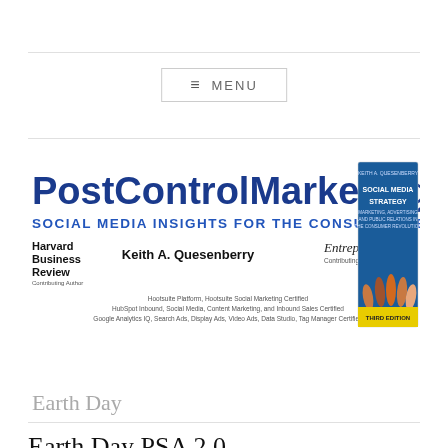MENU
[Figure (logo): PostControlMarketing.com banner with Social Media Strategy book cover, Harvard Business Review and Entrepreneur contributing author credits, Keith A. Quesenberry, and social media certifications]
Earth Day
Earth Day PSA 2.0
APRIL 29, 2011  ~  LEAVE A COMMENT